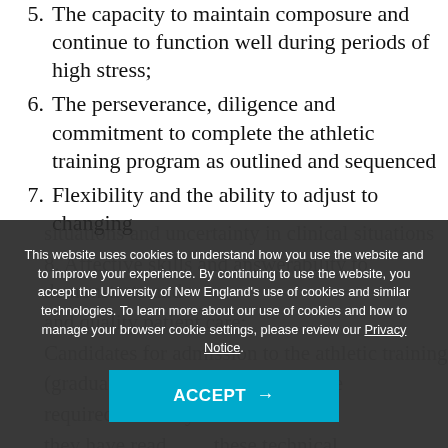5. The capacity to maintain composure and continue to function well during periods of high stress;
6. The perseverance, diligence and commitment to complete the athletic training program as outlined and sequenced
7. Flexibility and the ability to adjust to changing situations and uncertainty in clinical situations
8. Affective skills and answerability to demonstrate and ... and quality patient care;
Candidates for admission to the athletic training (graduate) program ... will be required to certify with the program director that they have read, ... these technical standards or that they believe that, with certain accommodations, they can meet the standards
This website uses cookies to understand how you use the website and to improve your experience. By continuing to use the website, you accept the University of New England's use of cookies and similar technologies. To learn more about our use of cookies and how to manage your browser cookie settings, please review our Privacy Notice.